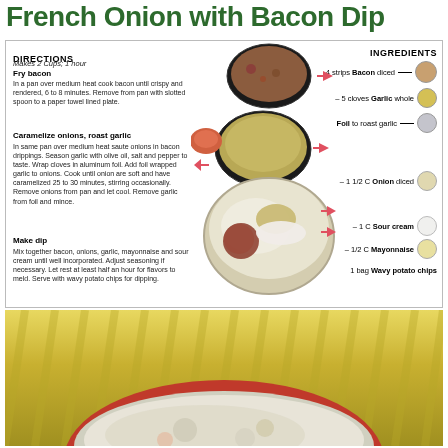French Onion with Bacon Dip
DIRECTIONS
Makes 2 Cups; 1 hour
Fry bacon
In a pan over medium heat cook bacon until crispy and rendered, 6 to 8 minutes. Remove from pan with slotted spoon to a paper towel lined plate.
Caramelize onions, roast garlic
In same pan over medium heat saute onions in bacon drippings. Season garlic with olive oil, salt and pepper to taste. Wrap cloves in aluminum foil. Add foil wrapped garlic to onions. Cook until onion are soft and have caramelized 25 to 30 minutes, stirring occasionally. Remove onions from pan and let cool. Remove garlic from foil and mince.
Make dip
Mix together bacon, onions, garlic, mayonnaise and sour cream until well incorporated. Adjust seasoning if necessary. Let rest at least half an hour for flavors to meld. Serve with wavy potato chips for dipping.
INGREDIENTS
4 strips Bacon diced
5 cloves Garlic whole
Foil to roast garlic
1 1/2 C Onion diced
1 C Sour cream
1/2 C Mayonnaise
1 bag Wavy potato chips
[Figure (photo): Recipe infographic showing cooking steps with ingredient photos arranged around a central bowl containing mixed dip ingredients (bacon, onions, sour cream, mayonnaise), with pink arrows indicating flow. Bottom half shows wavy potato chips with a bowl of French onion bacon dip in the foreground.]